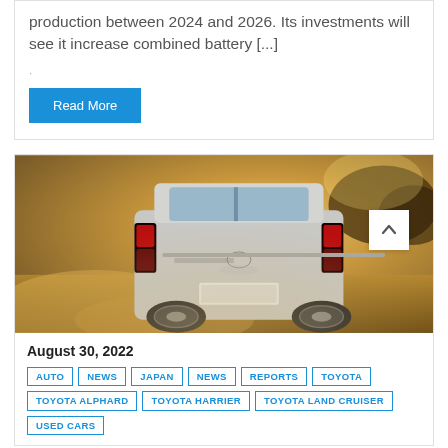production between 2024 and 2026. Its investments will see it increase combined battery [...]
Read More
[Figure (photo): Rear view of a Toyota Land Cruiser SUV driving on a dusty off-road terrain with warm golden-brown lighting and hills in the background.]
August 30, 2022
AUTO
NEWS
JAPAN
NEWS
REPORTS
TOYOTA
TOYOTA ALPHARD
TOYOTA HARRIER
TOYOTA LAND CRUISER
USED CARS